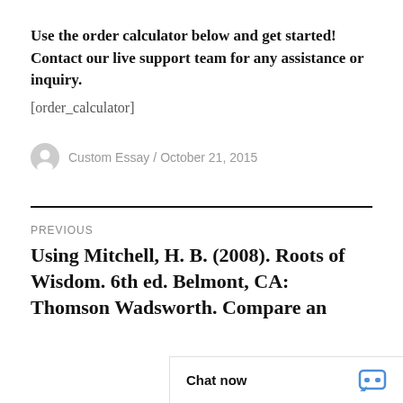Use the order calculator below and get started! Contact our live support team for any assistance or inquiry.
[order_calculator]
Custom Essay / October 21, 2015
PREVIOUS
Using Mitchell, H. B. (2008). Roots of Wisdom. 6th ed. Belmont, CA: Thomson Wadsworth. Compare an
Chat now